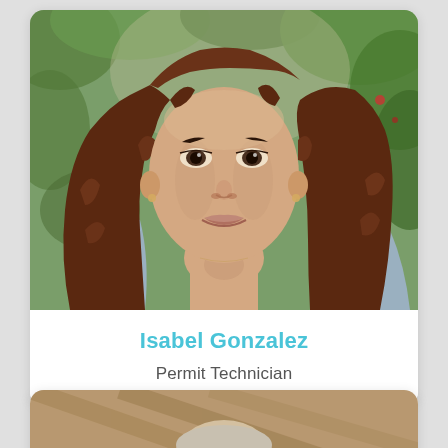[Figure (photo): Headshot photo of Isabel Gonzalez, a woman with long curly reddish-brown hair, smiling, wearing a light blue/grey top, with green foliage background]
Isabel Gonzalez
Permit Technician
[Figure (photo): Partial headshot of another person, partially cropped, appearing at the bottom of the page]